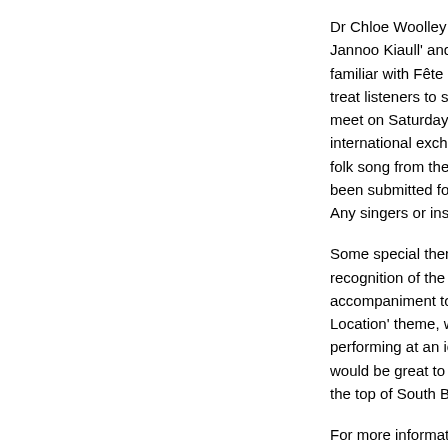Dr Chloe Woolley from Jannoo Kiaull' and she w... familiar with Fête de la M... treat listeners to some li... meet on Saturday 18th ... international exchange p... folk song from their cou... been submitted for the l... Any singers or instrume...
Some special themes th... recognition of the 40th a... accompaniment to comb... Location' theme, where ... performing at an iconic ... would be great to have s... the top of South Barrule...
For more information, c... https://www.facebook.co... www.makemusicday.org... www.makemusicday.co...